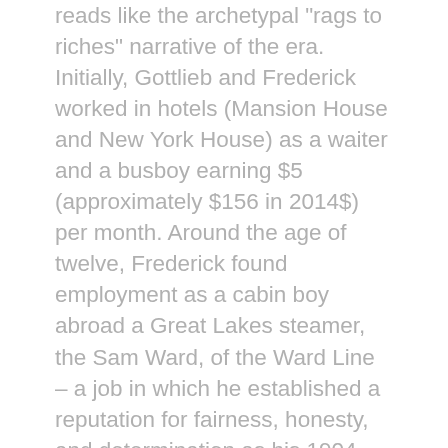reads like the archetypal "rags to riches" narrative of the era. Initially, Gottlieb and Frederick worked in hotels (Mansion House and New York House) as a waiter and a busboy earning $5 (approximately $156 in 2014$) per month. Around the age of twelve, Frederick found employment as a cabin boy abroad a Great Lakes steamer, the Sam Ward, of the Ward Line – a job in which he established a reputation for fairness, honesty, and determination as his 1904 obituary in the Milwaukee Sentinel attested. Stationed at the cabin door on day, his superiors instructed him not to allow passengers to leave the side-wheel steamer without showing a valid ticket. When the